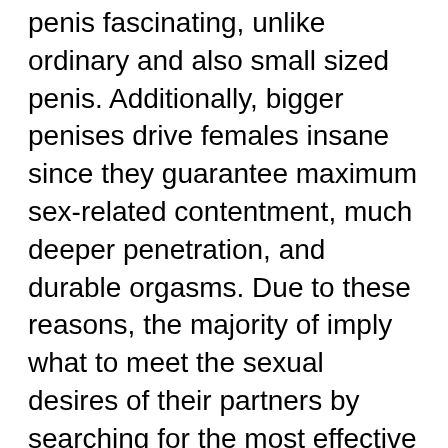penis fascinating, unlike ordinary and also small sized penis. Additionally, bigger penises drive females insane since they guarantee maximum sex-related contentment, much deeper penetration, and durable orgasms. Due to these reasons, the majority of imply what to meet the sexual desires of their partners by searching for the most effective penis extenders
The pharmaceutical and magazine market has been advising making use of exercises, supplements, and pills, among numerous even more techniques, to enhance the length and also girth of the penile cells. It is not validated whether these methods supply impressive efficiency. In the past years' and examined the dimensions of their penises